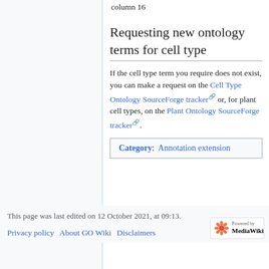column 16
Requesting new ontology terms for cell type
If the cell type term you require does not exist, you can make a request on the Cell Type Ontology SourceForge tracker or, for plant cell types, on the Plant Ontology SourceForge tracker.
Category: Annotation extension
This page was last edited on 12 October 2021, at 09:13.
Privacy policy  About GO Wiki  Disclaimers